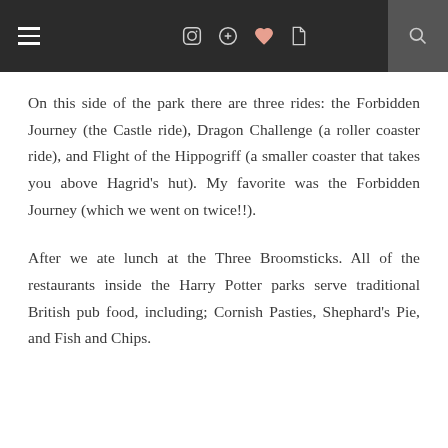≡  📷  Pinterest ♥ t  🔍
On this side of the park there are three rides: the Forbidden Journey (the Castle ride), Dragon Challenge (a roller coaster ride), and Flight of the Hippogriff (a smaller coaster that takes you above Hagrid's hut). My favorite was the Forbidden Journey (which we went on twice!!).
After we ate lunch at the Three Broomsticks. All of the restaurants inside the Harry Potter parks serve traditional British pub food, including; Cornish Pasties, Shephard's Pie, and Fish and Chips.